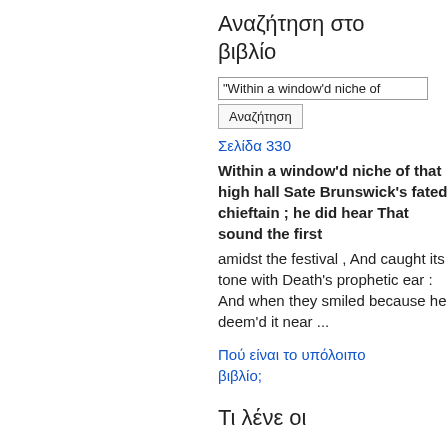Αναζήτηση στο βιβλίο
"Within a window'd niche of
Αναζήτηση
Σελίδα 330
Within a window'd niche of that high hall Sate Brunswick's fated chieftain ; he did hear That sound the first amidst the festival , And caught its tone with Death's prophetic ear : And when they smiled because he deem'd it near ...
Πού είναι το υπόλοιπο βιβλίο;
Τι λένε οι